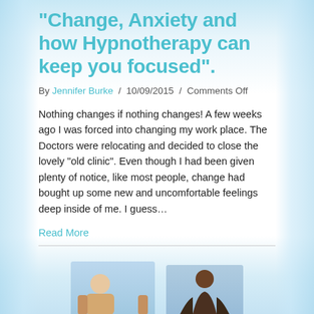“Change, Anxiety and how Hypnotherapy can keep you focused”.
By Jennifer Burke / 10/09/2015 / Comments Off
Nothing changes if nothing changes! A few weeks ago I was forced into changing my work place. The Doctors were relocating and decided to close the lovely “old clinic”. Even though I had been given plenty of notice, like most people, change had bought up some new and uncomfortable feelings deep inside of me. I guess…
Read More
[Figure (photo): Two partial portrait photos of people visible at bottom of page]